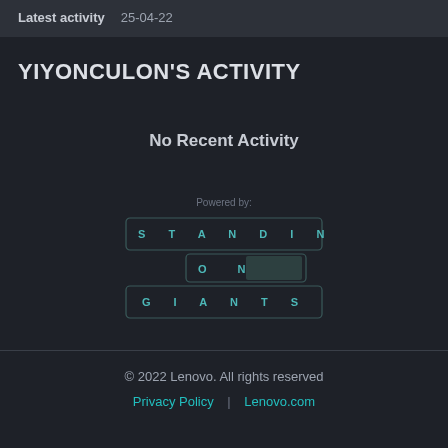Latest activity   25-04-22
YIYONCULON'S ACTIVITY
No Recent Activity
[Figure (logo): Standing on Giants logo — letter tiles spelling STANDING ON GIANTS in a stylized grid layout]
© 2022 Lenovo. All rights reserved
Privacy Policy  |  Lenovo.com